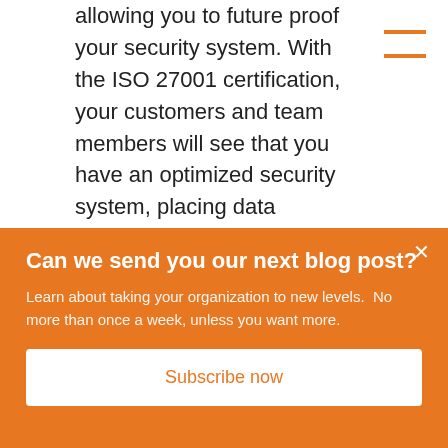allowing you to future proof your security system. With the ISO 27001 certification, your customers and team members will see that you have an optimized security system, placing data security as your highest priority. With
[Figure (other): Hamburger menu icon — two horizontal orange lines stacked]
Can we send you our next blog post?
Learn about taking your organization to new levels.  No more than once a week, unless you want more.
Subscribe now